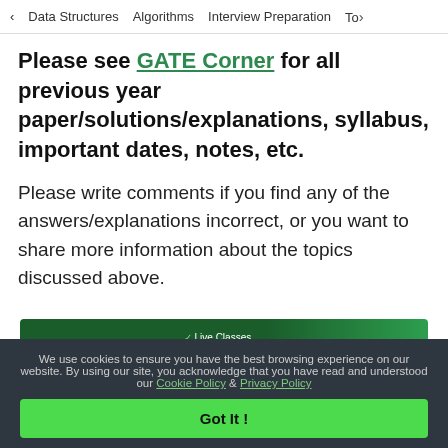< Data Structures   Algorithms   Interview Preparation   Top>
Please see GATE Corner for all previous year paper/solutions/explanations, syllabus, important dates, notes, etc.
Please write comments if you find any of the answers/explanations incorrect, or you want to share more information about the topics discussed above.
[Figure (infographic): GeeksforGeeks advertisement banner: Prepare For GATE CSE 2023 with Live Classes, Recorded Content, Doubt Sessions. Enrol Now button. GeeksforGeeks logo.]
We use cookies to ensure you have the best browsing experience on our website. By using our site, you acknowledge that you have read and understood our Cookie Policy & Privacy Policy
Got It !